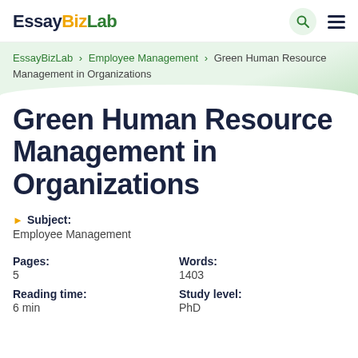EssayBizLab
EssayBizLab > Employee Management > Green Human Resource Management in Organizations
Green Human Resource Management in Organizations
Subject: Employee Management
Pages: 5
Words: 1403
Reading time: 6 min
Study level: PhD